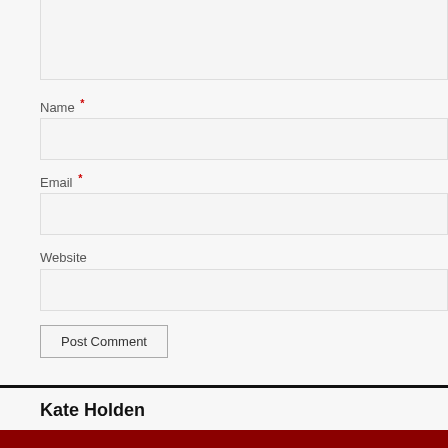[Figure (screenshot): Partial comment textarea input box (top portion cut off)]
Name *
[Figure (screenshot): Name input field (text box, empty)]
Email *
[Figure (screenshot): Email input field (text box, empty)]
Website
[Figure (screenshot): Website input field (text box, empty)]
Post Comment
Kate Holden